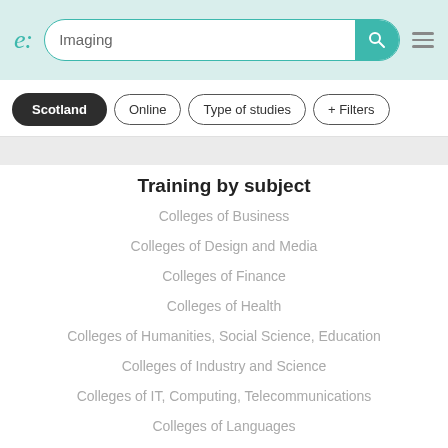e: Imaging [search bar with teal search button and hamburger menu]
Scotland
Online
Type of studies
+ Filters
Training by subject
Colleges of Business
Colleges of Design and Media
Colleges of Finance
Colleges of Health
Colleges of Humanities, Social Science, Education
Colleges of Industry and Science
Colleges of IT, Computing, Telecommunications
Colleges of Languages